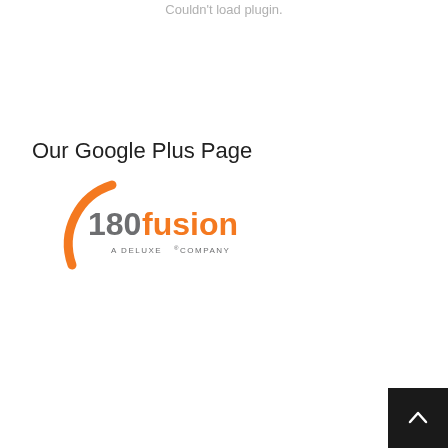Couldn't load plugin.
Our Google Plus Page
[Figure (logo): 180fusion A Deluxe Company logo — orange arc and '180' with 'fusion' in dark/orange text, subtitle 'A DELUXE® COMPANY']
[Figure (other): Dark scroll-to-top button with upward chevron arrow in bottom-right corner]